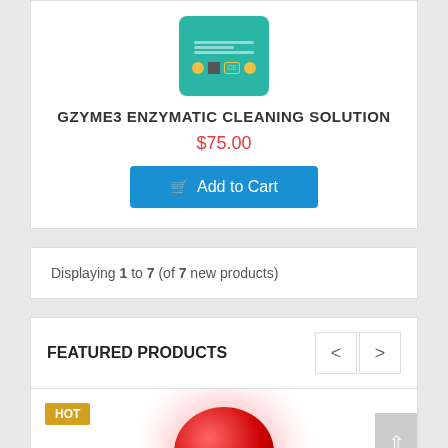[Figure (photo): Product image of GZYME3 Enzymatic Cleaning Solution in a teal/green container]
GZYME3 ENZYMATIC CLEANING SOLUTION
$75.00
Add to Cart
Displaying 1 to 7 (of 7 new products)
FEATURED PRODUCTS
[Figure (photo): Featured product image with HOT badge, showing a red glittery spherical product]